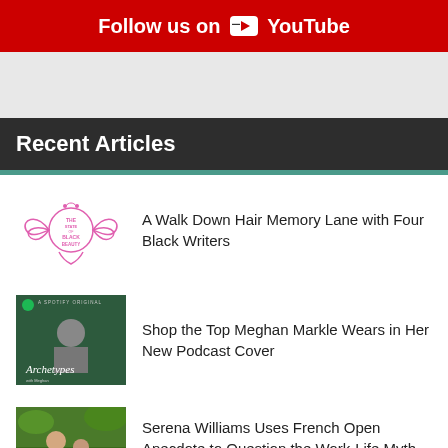Follow us on YouTube
[Figure (other): Gray advertisement/banner space]
Recent Articles
A Walk Down Hair Memory Lane with Four Black Writers
Shop the Top Meghan Markle Wears in Her New Podcast Cover
Serena Williams Uses French Open Anecdote to Question the Work-Life Myth For Moms